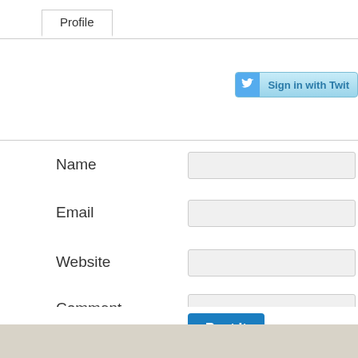Profile
[Figure (screenshot): Sign in with Twitter button with blue bird icon on the right side]
Name
Email
Website
Comment
Post It